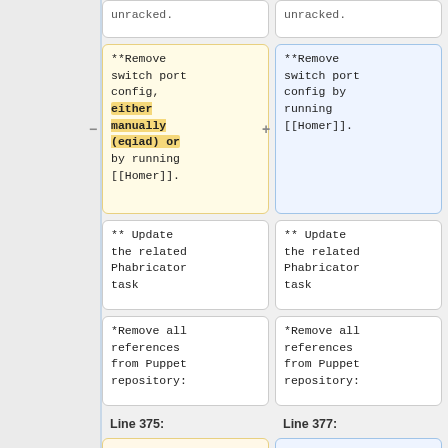unracked. (left column, top partial)
unracked. (right column, top partial)
**Remove switch port config, either manually (eqiad) or by running [[Homer]]. (left, yellow highlighted)
**Remove switch port config by running [[Homer]]. (right, blue highlighted)
** Update the related Phabricator task (left)
** Update the related Phabricator task (right)
*Remove all references from Puppet repository: (left)
*Remove all references from Puppet repository: (right)
Line 375:
Line 377: